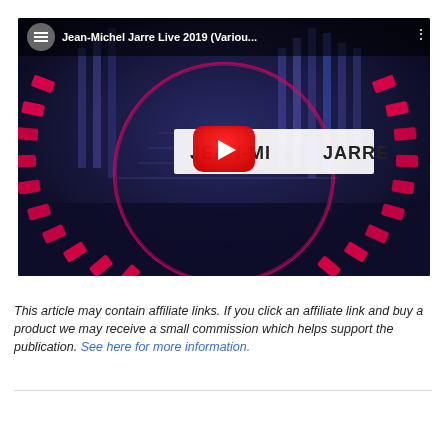[Figure (screenshot): YouTube video thumbnail/player for 'Jean-Michel Jarre Live 2019 (Variou...' showing a concert stage with pink/red neon ring lighting, blue atmosphere, and a large red YouTube play button in the center. The artist name 'JEAN-MICHEL JARRE' appears on a white banner across the middle. A circular avatar and channel name appear in the top-left bar.]
This article may contain affiliate links. If you click an affiliate link and buy a product we may receive a small commission which helps support the publication. See here for more information.